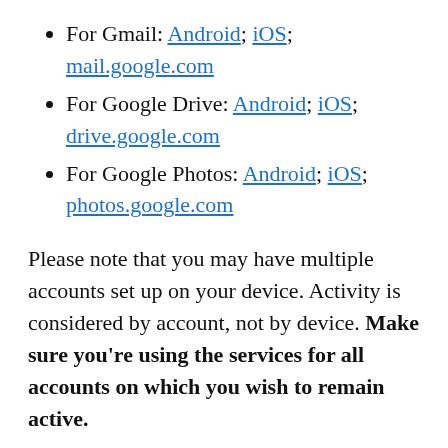For Gmail: Android; iOS; mail.google.com
For Google Drive: Android; iOS; drive.google.com
For Google Photos: Android; iOS; photos.google.com
Please note that you may have multiple accounts set up on your device. Activity is considered by account, not by device. Make sure you're using the services for all accounts on which you wish to remain active.
The article from Google concludes with some FAQ which you might like to refer to, including one answer on how to preserve content from a loved one if they pass away and the use of their